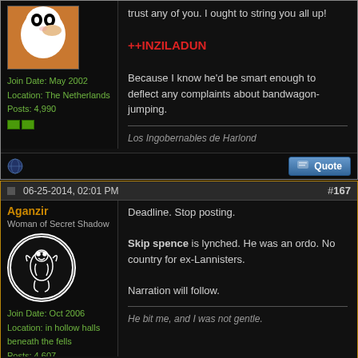trust any of you. I ought to string you all up!
++INZILADUN
Because I know he'd be smart enough to deflect any complaints about bandwagon-jumping.
Los Ingobernables de Harlond
Join Date: May 2002
Location: The Netherlands
Posts: 4,990
06-25-2014, 02:01 PM
#167
Aganzir
Woman of Secret Shadow
Deadline. Stop posting.

Skip spence is lynched. He was an ordo. No country for ex-Lannisters.

Narration will follow.
He bit me, and I was not gentle.
Join Date: Oct 2006
Location: in hollow halls beneath the fells
Posts: 4,607